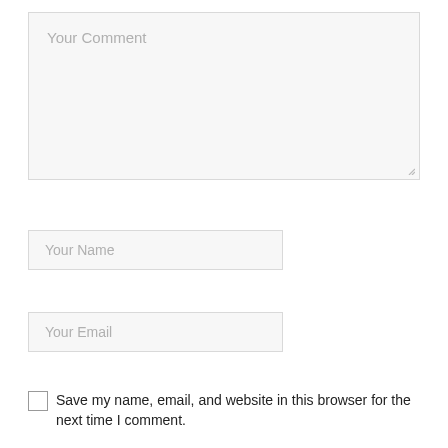[Figure (screenshot): A web comment form textarea with placeholder text 'Your Comment', a resize handle at bottom right, displayed on a light gray background with a light border.]
[Figure (screenshot): A web form input field with placeholder text 'Your Name', displayed on a light gray background with a light border.]
[Figure (screenshot): A web form input field with placeholder text 'Your Email', displayed on a light gray background with a light border.]
Save my name, email, and website in this browser for the next time I comment.